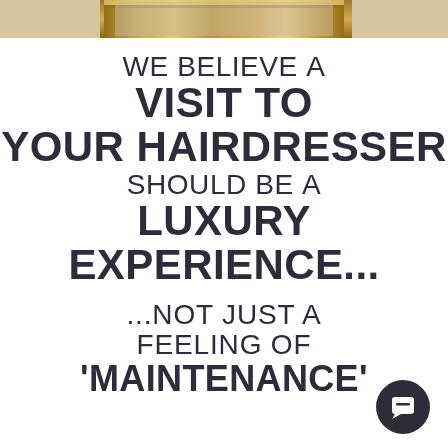[Figure (photo): Top strip showing a decorative gold-framed mirror or artwork, partially cropped]
WE BELIEVE A VISIT TO YOUR HAIRDRESSER SHOULD BE A LUXURY EXPERIENCE... ...NOT JUST A FEELING OF 'MAINTENANCE'